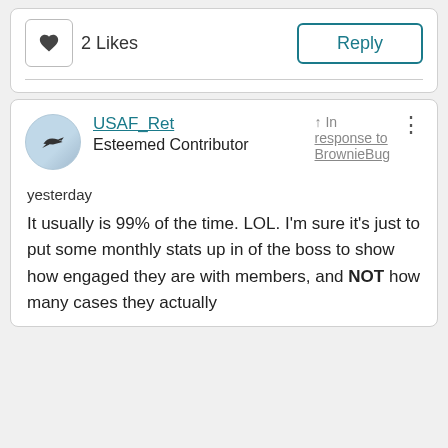2 Likes
Reply
USAF_Ret
Esteemed Contributor
In response to BrownieBug
yesterday
It usually is 99% of the time. LOL. I'm sure it's just to put some monthly stats up in of the boss to show how engaged they are with members, and NOT how many cases they actually